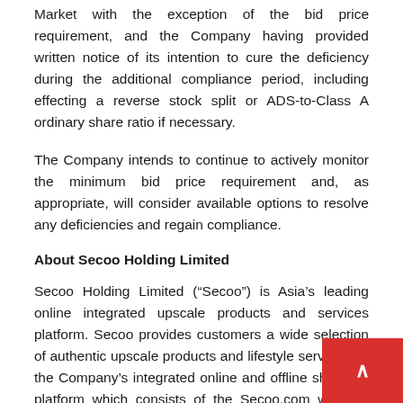Market with the exception of the bid price requirement, and the Company having provided written notice of its intention to cure the deficiency during the additional compliance period, including effecting a reverse stock split or ADS-to-Class A ordinary share ratio if necessary.
The Company intends to continue to actively monitor the minimum bid price requirement and, as appropriate, will consider available options to resolve any deficiencies and regain compliance.
About Secoo Holding Limited
Secoo Holding Limited (“Secoo”) is Asia’s leading online integrated upscale products and services platform. Secoo provides customers a wide selection of authentic upscale products and lifestyle services on the Company’s integrated online and offline shopping platform which consists of the Secoo.com website, mobile applications and offline